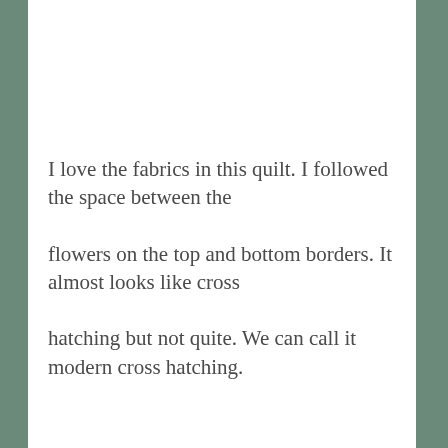I love the fabrics in this quilt. I followed the space between the

flowers on the top and bottom borders. It almost looks like cross

hatching but not quite. We can call it modern cross hatching.
[Figure (other): Broken image placeholder icon followed by red link text 'DSC03879']
Privacy & Cookies: This site uses cookies. By continuing to use this website, you agree to their use.
To find out more, including how to control cookies, see here: Cookie Policy